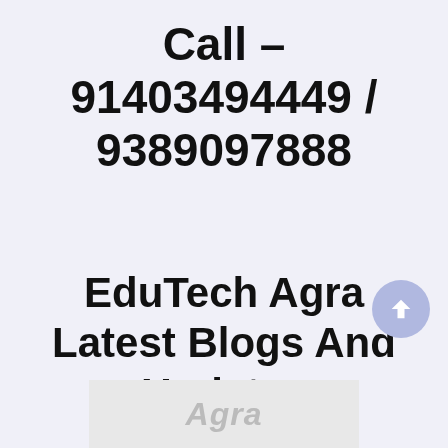Call – 91403494449 / 9389097888
EduTech Agra Latest Blogs And Updates
[Figure (other): Partially visible image at the bottom of the page showing faint text, possibly a logo or banner]